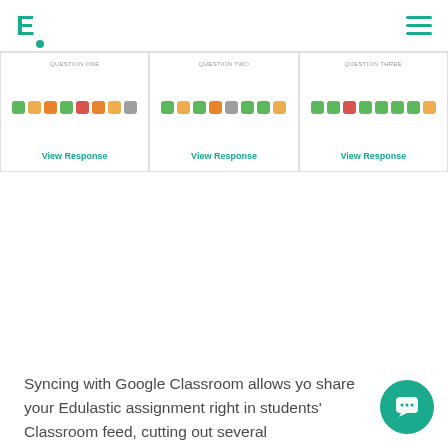E· [logo] [hamburger menu]
[Figure (screenshot): Three student response cards each showing colored dot grids (green, yellow, orange, red, gray squares) representing quiz answers, with 'View Response' links in teal below each card.]
Eliminate student logins with Google Classroom sync
Syncing with Google Classroom allows you to share your Edulastic assignment right in students' Classroom feed, cutting out several